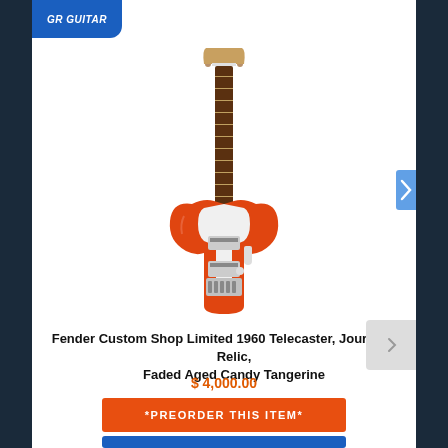[Figure (logo): Guitar shop logo with blue background, white italic text]
[Figure (photo): Fender Custom Shop Telecaster guitar in Faded Aged Candy Tangerine (orange/red) finish with white pickguard and rosewood neck, shown on white background]
Fender Custom Shop Limited 1960 Telecaster, Journeyman Relic, Faded Aged Candy Tangerine
$ 4,000.00
*PREORDER THIS ITEM*